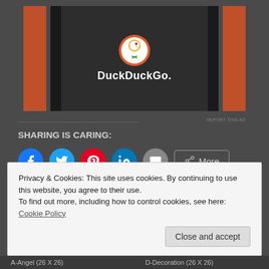[Figure (screenshot): DuckDuckGo advertisement banner with orange side panels and dark background showing the DuckDuckGo duck logo and name]
SHARING IS CARING:
[Figure (infographic): Row of social sharing buttons: Facebook (blue circle), Twitter (light blue circle), Pinterest (red circle), LinkedIn (teal circle), Email (gray circle), and a More button with share icon]
Loading…
Privacy & Cookies: This site uses cookies. By continuing to use this website, you agree to their use.
To find out more, including how to control cookies, see here: Cookie Policy
Close and accept
A-Angel (26 X 26)   D-Decoration (26 X 26)